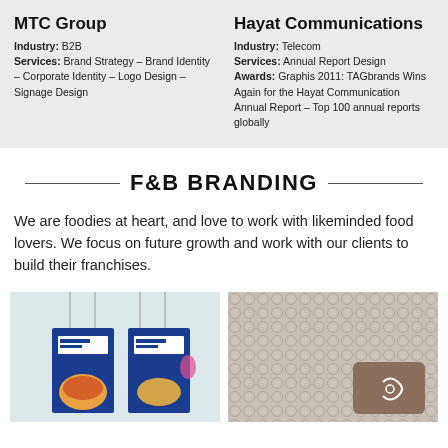MTC Group
Industry: B2B
Services: Brand Strategy – Brand Identity – Corporate Identity – Logo Design – Signage Design
Hayat Communications
Industry: Telecom
Services: Annual Report Design
Awards: Graphis 2011: TAGbrands Wins Again for the Hayat Communication Annual Report – Top 100 annual reports globally
F&B BRANDING
We are foodies at heart, and love to work with likeminded food lovers. We focus on future growth and work with our clients to build their franchises.
[Figure (photo): Two menu board signs hanging with food items including a chicken fillet burger and shrimp dish on blue branded boards]
[Figure (photo): Bubble wrap textured background with a brown rounded-corner card featuring a white logo or icon]